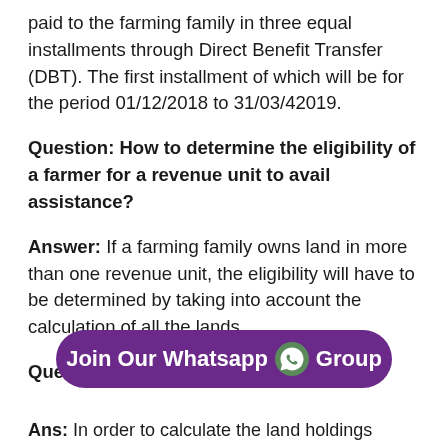paid to the farming family in three equal installments through Direct Benefit Transfer (DBT). The first installment of which will be for the period 01/12/2018 to 31/03/42019.
Question: How to determine the eligibility of a farmer for a revenue unit to avail assistance?
Answer: If a farming family owns land in more than one revenue unit, the eligibility will have to be determined by taking into account the calculation of all the lands.
Question: How to calculate land
[Figure (other): Purple rounded button with WhatsApp icon: Join Our Whatsapp Group]
Ans: In order to calculate the land holdings